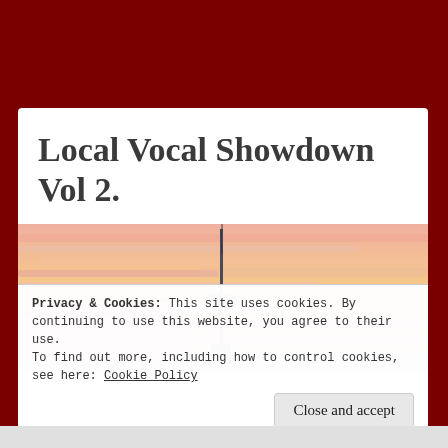Local Vocal Showdown Vol 2.
[Figure (photo): Sunset sky with pink and orange hues, featuring the Stratosphere Tower (Las Vegas) silhouetted in the center]
Privacy & Cookies: This site uses cookies. By continuing to use this website, you agree to their use.
To find out more, including how to control cookies, see here: Cookie Policy
Close and accept